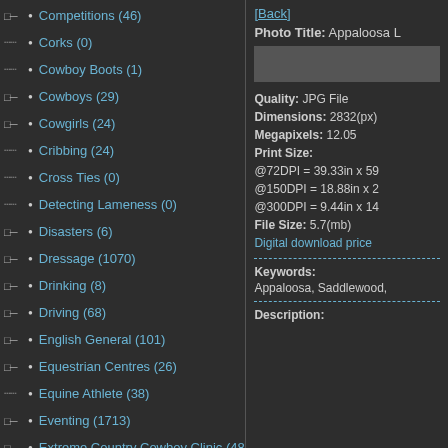Competitions (46)
Corks (0)
Cowboy Boots (1)
Cowboys (29)
Cowgirls (24)
Cribbing (24)
Cross Ties (0)
Detecting Lameness (0)
Disasters (6)
Dressage (1070)
Drinking (8)
Driving (68)
English General (101)
Equestrian Centres (26)
Equine Athlete (38)
Eventing (1713)
Extreme Country Cowboy Clinic (48)
Eye (13)
Fall (74)
Farming (0)
Farming (0)
Farms (0)
Feed and Nutrition (388)
Fencing (75)
Fire Safety (2)
First Aid Kit (10)
Flies (41)
Foals (174)
[Back]
Photo Title: Appaloosa L
Quality: JPG File
Dimensions: 2832(px)
Megapixels: 12.05
Print Size:
@72DPI = 39.33in x 59
@150DPI = 18.88in x 2
@300DPI = 9.44in x 14
File Size: 5.7(mb)
Digital download price
Keywords:
Appaloosa, Saddlewood,
Description: